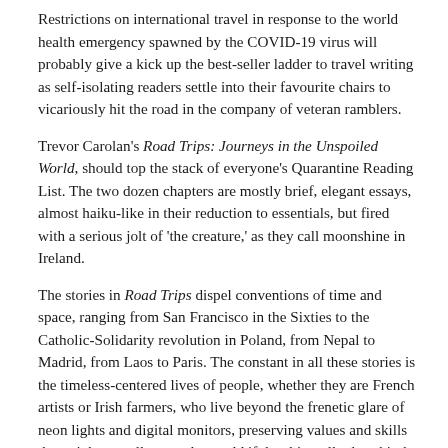Restrictions on international travel in response to the world health emergency spawned by the COVID-19 virus will probably give a kick up the best-seller ladder to travel writing as self-isolating readers settle into their favourite chairs to vicariously hit the road in the company of veteran ramblers.
Trevor Carolan's Road Trips: Journeys in the Unspoiled World, should top the stack of everyone's Quarantine Reading List. The two dozen chapters are mostly brief, elegant essays, almost haiku-like in their reduction to essentials, but fired with a serious jolt of 'the creature,' as they call moonshine in Ireland.
The stories in Road Trips dispel conventions of time and space, ranging from San Francisco in the Sixties to the Catholic-Solidarity revolution in Poland, from Nepal to Madrid, from Laos to Paris. The constant in all these stories is the timeless-centered lives of people, whether they are French artists or Irish farmers, who live beyond the frenetic glare of neon lights and digital monitors, preserving values and skills that might actually save the world if the shit really does hit the fan.